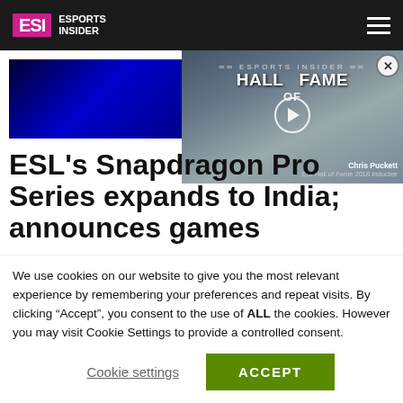ESI ESPORTS INSIDER
[Figure (screenshot): Dark blue gradient banner image with website URL watermark, partially visible beneath a video overlay]
[Figure (screenshot): Video overlay showing ESI Esports Insider Hall of Fame with a man in a blue suit, play button in center, caption: Chris Puckett - ESI Hall of Fame 2018 Inductee]
ESL's Snapdragon Pro Series expands to India; announces games
We use cookies on our website to give you the most relevant experience by remembering your preferences and repeat visits. By clicking "Accept", you consent to the use of ALL the cookies. However you may visit Cookie Settings to provide a controlled consent.